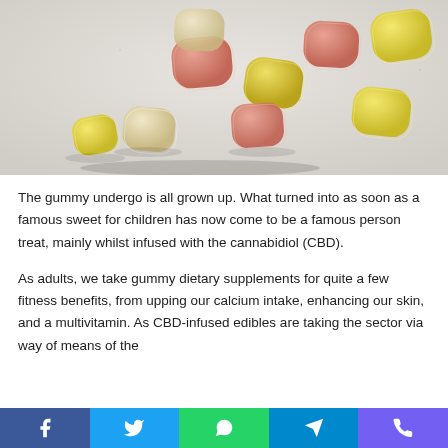[Figure (photo): Colorful gummy candy pieces scattered on a light gray/white background. Gummies are yellow, pink/orange, and cream colored, coated in sugar.]
The gummy undergo is all grown up. What turned into as soon as a famous sweet for children has now come to be a famous person treat, mainly whilst infused with the cannabidiol (CBD).
As adults, we take gummy dietary supplements for quite a few fitness benefits, from upping our calcium intake, enhancing our skin, and a multivitamin. As CBD-infused edibles are taking the sector via way of means of the
[Figure (infographic): Social sharing bar at the bottom with Facebook (blue), Twitter (light blue), WhatsApp (green), Telegram (blue), and Viber (purple) icons.]